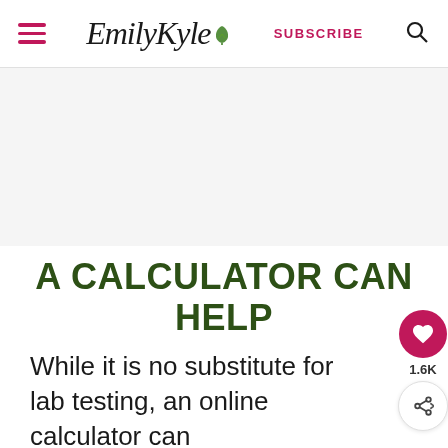EmilyKyle — SUBSCRIBE
[Figure (other): Gray advertisement placeholder area]
A CALCULATOR CAN HELP
While it is no substitute for lab testing, an online calculator can